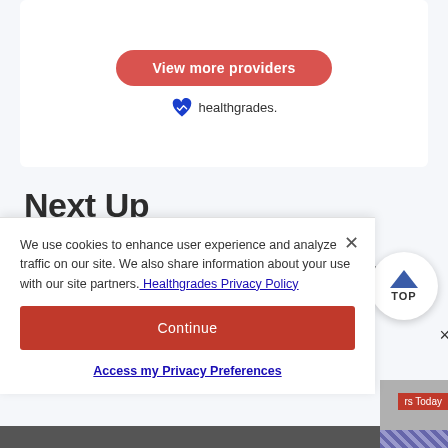[Figure (logo): View more providers button (red pill button) and Healthgrades logo with heart icon]
Next Up
[Figure (photo): Silhouette of a person against bright sunlight, warm golden tones]
Endocrine Disorders: Types, Causes, Treatments
We use cookies to enhance user experience and analyze traffic on our site. We also share information about your use with our site partners. Healthgrades Privacy Policy
Continue
Access my Privacy Preferences